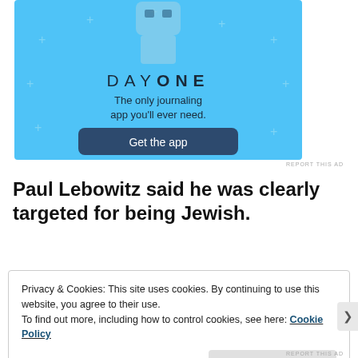[Figure (illustration): Day One journaling app advertisement with light blue background, robot/character illustration at top, 'DAY ONE' title text, tagline 'The only journaling app you'll ever need.', and a dark blue 'Get the app' button.]
REPORT THIS AD
Paul Lebowitz said he was clearly targeted for being Jewish.
Privacy & Cookies: This site uses cookies. By continuing to use this website, you agree to their use.
To find out more, including how to control cookies, see here: Cookie Policy
Close and accept